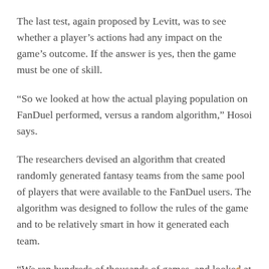The last test, again proposed by Levitt, was to see whether a player’s actions had any impact on the game’s outcome. If the answer is yes, then the game must be one of skill.
“So we looked at how the actual playing population on FanDuel performed, versus a random algorithm,” Hosoi says.
The researchers devised an algorithm that created randomly generated fantasy teams from the same pool of players that were available to the FanDuel users. The algorithm was designed to follow the rules of the game and to be relatively smart in how it generated each team.
“We ran hundreds of thousands of games, and looked at the scores of actual fantasy players,